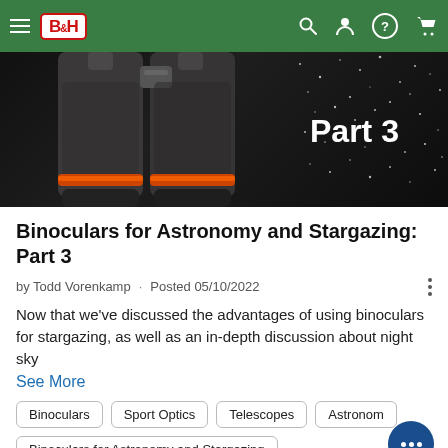B&H
[Figure (photo): Close-up of binoculars against a starry night sky background with text 'Part 3' overlaid]
Binoculars for Astronomy and Stargazing: Part 3
by Todd Vorenkamp · Posted 05/10/2022
Now that we've discussed the advantages of using binoculars for stargazing, as well as an in-depth discussion about night sky
See More
Binoculars
Sport Optics
Telescopes
Astronomy
Binoculars for Astronomy and Stargazing